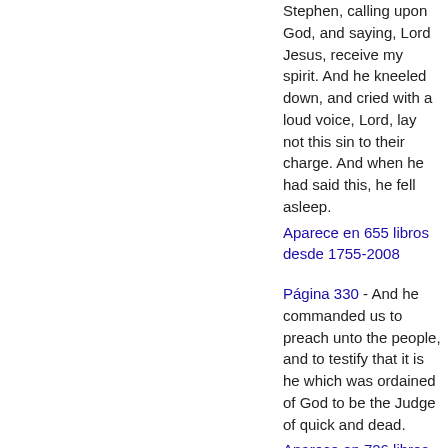Stephen, calling upon God, and saying, Lord Jesus, receive my spirit. And he kneeled down, and cried with a loud voice, Lord, lay not this sin to their charge. And when he had said this, he fell asleep.
Aparece en 655 libros desde 1755-2008
Página 330 - And he commanded us to preach unto the people, and to testify that it is he which was ordained of God to be the Judge of quick and dead.
Aparece en 726 libros desde 1698-2008
Página 297 - ... feet. But